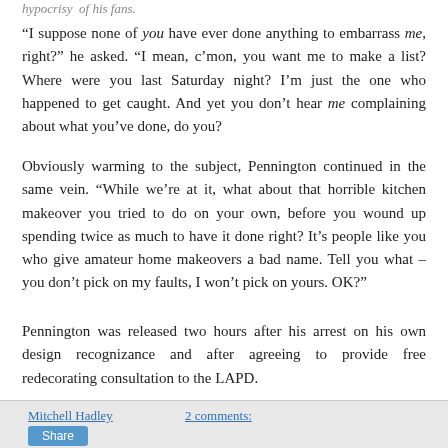hypocrisy of his fans.
“I suppose none of you have ever done anything to embarrass me, right?” he asked. “I mean, c’mon, you want me to make a list? Where were you last Saturday night? I’m just the one who happened to get caught. And yet you don’t hear me complaining about what you’ve done, do you?
Obviously warming to the subject, Pennington continued in the same vein. “While we’re at it, what about that horrible kitchen makeover you tried to do on your own, before you wound up spending twice as much to have it done right? It’s people like you who give amateur home makeovers a bad name. Tell you what – you don’t pick on my faults, I won’t pick on yours. OK?”
Pennington was released two hours after his arrest on his own design recognizance and after agreeing to provide free redecorating consultation to the LAPD.
Mitchell Hadley    2 comments:
Share